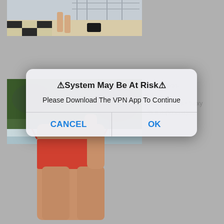[Figure (screenshot): Screenshot of a webpage with two photos visible (a boat deck photo at top, a person in bikini photo at bottom-left), a gray background, and partially visible text links on the right side. An iOS-style modal dialog overlays the center of the page.]
⚠System May Be At Risk⚠
Please Download The VPN App To Continue
CANCEL    OK